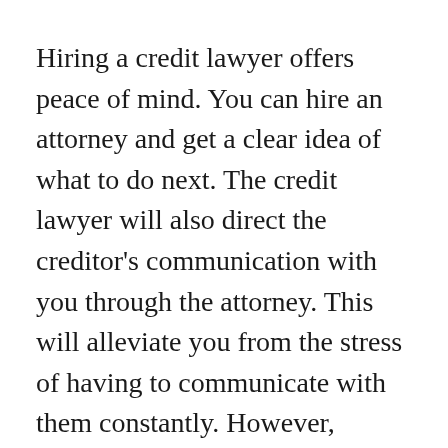Hiring a credit lawyer offers peace of mind. You can hire an attorney and get a clear idea of what to do next. The credit lawyer will also direct the creditor’s communication with you through the attorney. This will alleviate you from the stress of having to communicate with them constantly. However, remember that the attorney cannot do everything for you. You must take control of your own life.
A credit lawyer can also be a cost-saving option. Your debt may be far higher than